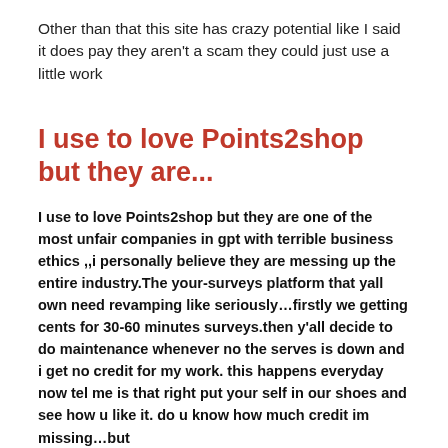Other than that this site has crazy potential like I said it does pay they aren't a scam they could just use a little work
I use to love Points2shop but they are...
I use to love Points2shop but they are one of the most unfair companies in gpt with terrible business ethics ,,i personally believe they are messing up the entire industry.The your-surveys platform that yall own need revamping like seriously...firstly we getting cents for 30-60 minutes surveys.then y'all decide to do maintenance whenever no the serves is down and i get no credit for my work. this happens everyday now tel me is that right put your self in our shoes and see how u like it. do u know how much credit im missing...but